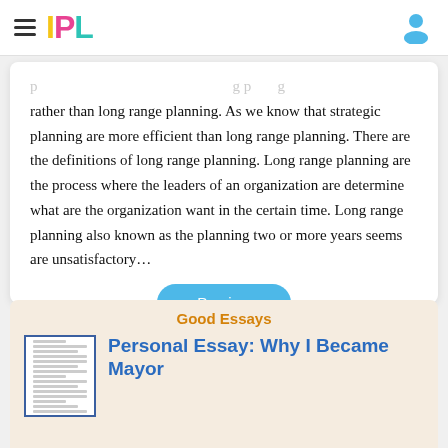IPL
rather than long range planning. As we know that strategic planning are more efficient than long range planning. There are the definitions of long range planning. Long range planning are the process where the leaders of an organization are determine what are the organization want in the certain time. Long range planning also known as the planning two or more years seems are unsatisfactory…
Good Essays
Personal Essay: Why I Became Mayor